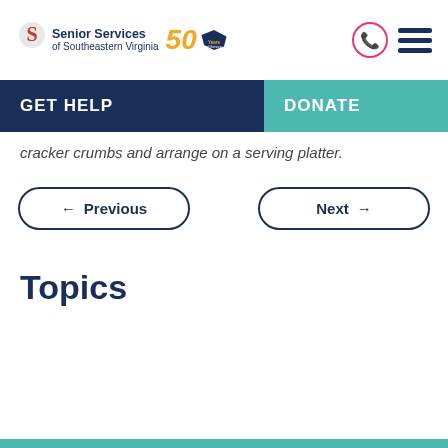[Figure (logo): Senior Services of Southeastern Virginia logo with 50 Years of Service badge and Virginia state shape]
cracker crumbs and arrange on a serving platter.
← Previous
Next →
Topics